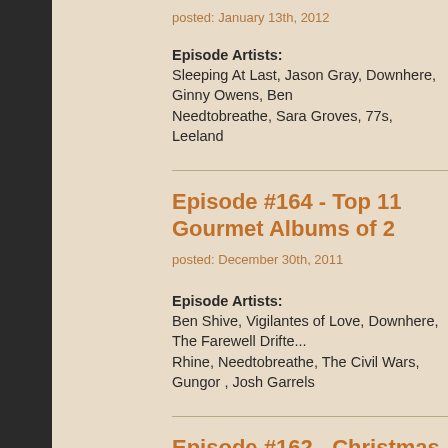posted: January 13th, 2012
Episode Artists:
Sleeping At Last, Jason Gray, Downhere, Ginny Owens, Ben Needtobreathe, Sara Groves, 77s, Leeland
Episode #164 - Top 11 Gourmet Albums of 2...
posted: December 30th, 2011
Episode Artists:
Ben Shive, Vigilantes of Love, Downhere, The Farewell Drifter Rhine, Needtobreathe, The Civil Wars, Gungor , Josh Garrels
Episode #162 - Christmas Carol Remakes
posted: December 16th, 2011
Episode Artists: